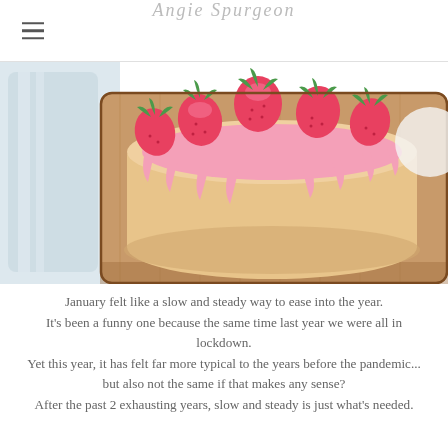Angie Spurgeon
[Figure (illustration): Illustrated strawberry cake with pink icing and strawberries on a wooden board, partially cropped at top]
January felt like a slow and steady way to ease into the year.
It's been a funny one because the same time last year we were all in lockdown.
Yet this year, it has felt far more typical to the years before the pandemic...
but also not the same if that makes any sense?
After the past 2 exhausting years, slow and steady is just what's needed.